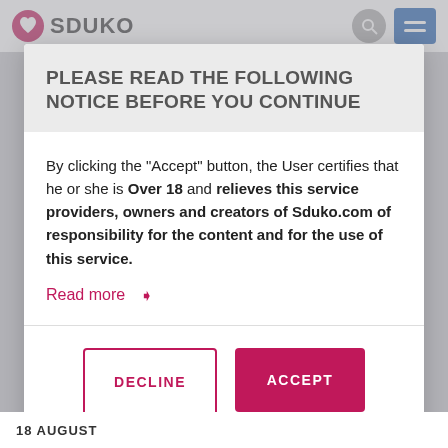SDUKO
PLEASE READ THE FOLLOWING NOTICE BEFORE YOU CONTINUE
By clicking the "Accept" button, the User certifies that he or she is Over 18 and relieves this service providers, owners and creators of Sduko.com of responsibility for the content and for the use of this service.
Read more ▶
DECLINE
ACCEPT
18 AUGUST